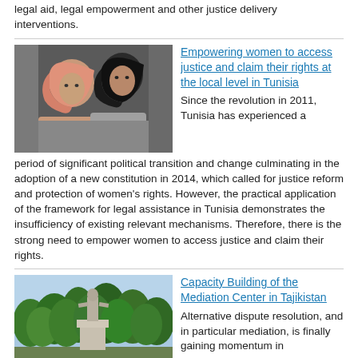legal aid, legal empowerment and other justice delivery interventions.
[Figure (photo): Two women wearing hijabs sitting together, one in pink and one in black, appearing to be in discussion or studying.]
Empowering women to access justice and claim their rights at the local level in Tunisia
Since the revolution in 2011, Tunisia has experienced a period of significant political transition and change culminating in the adoption of a new constitution in 2014, which called for justice reform and protection of women’s rights. However, the practical application of the framework for legal assistance in Tunisia demonstrates the insufficiency of existing relevant mechanisms. Therefore, there is the strong need to empower women to access justice and claim their rights.
[Figure (photo): A statue of a person on a pedestal surrounded by green trees, appearing to be in a public park or square in Tajikistan.]
Capacity Building of the Mediation Center in Tajikistan
Alternative dispute resolution, and in particular mediation, is finally gaining momentum in Tajikistan. Previous attempt to introduce law on mediation in Tajikistan have not been successful and consequently there is currently no formal legal framework for mediation. In the first phase of the project,